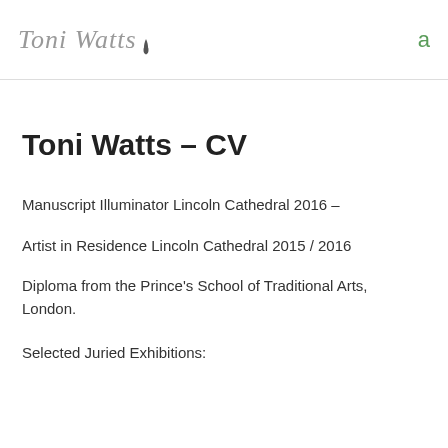Toni Watts  a
Toni Watts – CV
Manuscript Illuminator Lincoln Cathedral 2016 –
Artist in Residence Lincoln Cathedral 2015 / 2016
Diploma from the Prince's School of Traditional Arts, London.
Selected Juried Exhibitions: